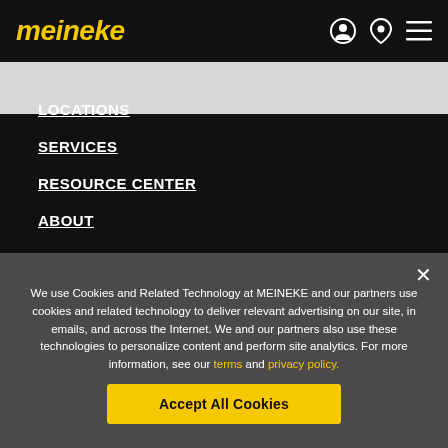meineke
LOCATIONS
SERVICES
RESOURCE CENTER
ABOUT
COMMUNITY
We use Cookies and Related Technology at MEINEKE and our partners use cookies and related technology to deliver relevant advertising on our site, in emails, and across the Internet. We and our partners also use these technologies to personalize content and perform site analytics. For more information, see our terms and privacy policy.
Accept All Cookies